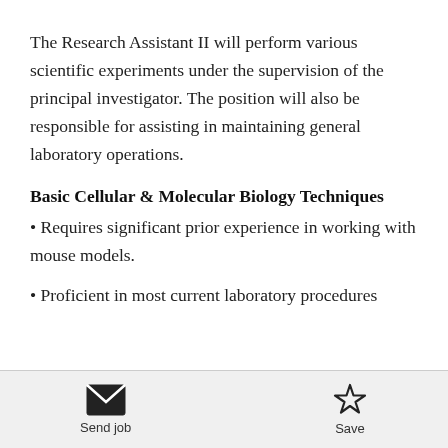The Research Assistant II will perform various scientific experiments under the supervision of the principal investigator. The position will also be responsible for assisting in maintaining general laboratory operations.
Basic Cellular & Molecular Biology Techniques
• Requires significant prior experience in working with mouse models.
• Proficient in most current laboratory procedures